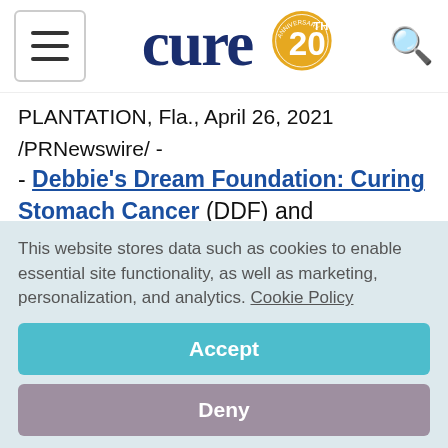CURE 20th Anniversary — navigation header with hamburger menu and search icon
PLANTATION, Fla., April 26, 2021 /PRNewswire/ -- Debbie's Dream Foundation: Curing Stomach Cancer (DDF) and CancerCare announce a joint venture to launch the first-ever helpline dedicated to stomach cancer patients, their families, caregivers, and those who've lost loved ones to the disease. CancerCare is the leading national organization
This website stores data such as cookies to enable essential site functionality, as well as marketing, personalization, and analytics. Cookie Policy
Accept
Deny